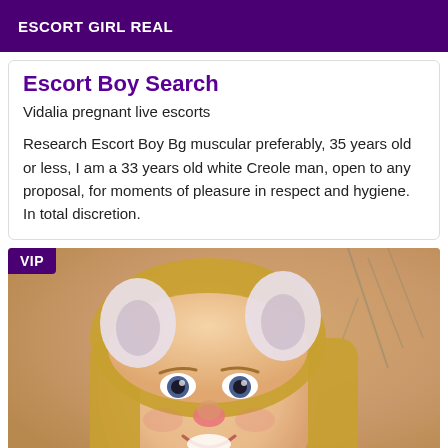ESCORT GIRL REAL
Escort Boy Search
Vidalia pregnant live escorts
Research Escort Boy Bg muscular preferably, 35 years old or less, I am a 33 years old white Creole man, open to any proposal, for moments of pleasure in respect and hygiene. In total discretion.
[Figure (photo): Close-up photo of a smiling young woman with long blonde hair, wearing a Snapchat dog-ear filter with animal ears and nose overlaid on the image. Background is blurred beige/tan with plant branches visible.]